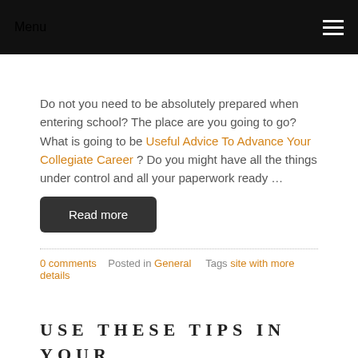Menu
Do not you need to be absolutely prepared when entering school? The place are you going to go? What is going to be Useful Advice To Advance Your Collegiate Career ? Do you might have all the things under control and all your paperwork ready …
Read more
0 comments   Posted in General   Tags site with more details
USE THESE TIPS IN YOUR TIME IN FACULTY
February 10, 2019